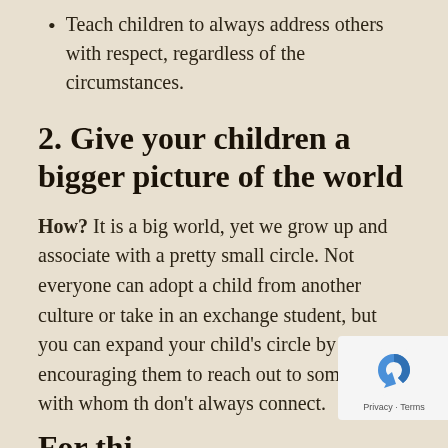Teach children to always address others with respect, regardless of the circumstances.
2. Give your children a bigger picture of the world
How? It is a big world, yet we grow up and associate with a pretty small circle. Not everyone can adopt a child from another culture or take in an exchange student, but you can expand your child's circle by encouraging them to reach out to someone with whom they don't always connect.
For thi...